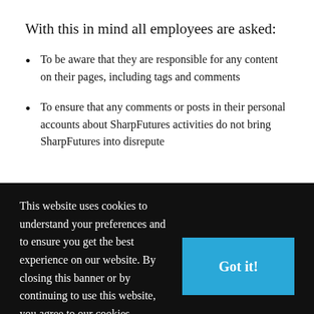With this in mind all employees are asked:
To be aware that they are responsible for any content on their pages, including tags and comments
To ensure that any comments or posts in their personal accounts about SharpFutures activities do not bring SharpFutures into disrepute
This website uses cookies to understand your preferences and to ensure you get the best experience on our website. By closing this banner or by continuing to use this website, you agree to our cookies.
For more information please review our cookie policy.